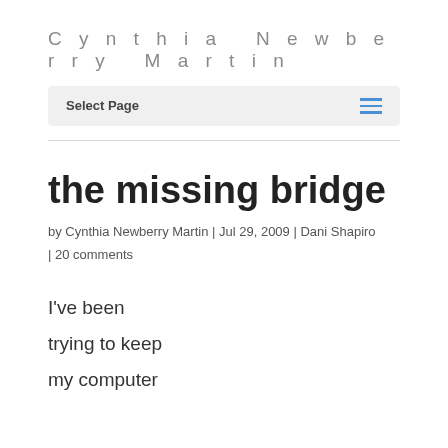Cynthia Newberry Martin
the missing bridge
by Cynthia Newberry Martin | Jul 29, 2009 | Dani Shapiro
| 20 comments
I've been
trying to keep
my computer